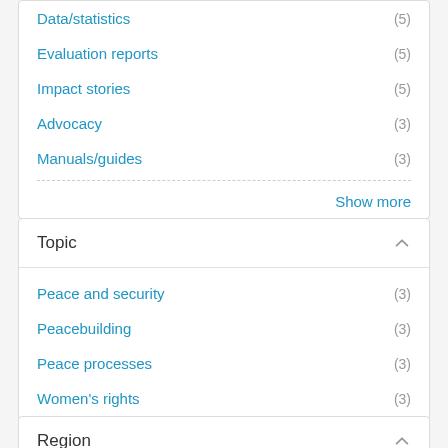Data/statistics (5)
Evaluation reports (5)
Impact stories (5)
Advocacy (3)
Manuals/guides (3)
Show more
Topic
Peace and security (3)
Peacebuilding (3)
Peace processes (3)
Women's rights (3)
Economic empowerment (1)
Ending violence against women and girls (1)
Region